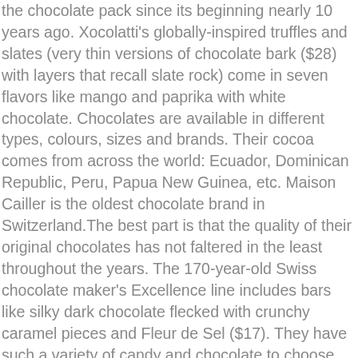the chocolate pack since its beginning nearly 10 years ago. Xocolatti's globally-inspired truffles and slates (very thin versions of chocolate bark ($28) with layers that recall slate rock) come in seven flavors like mango and paprika with white chocolate. Chocolates are available in different types, colours, sizes and brands. Their cocoa comes from across the world: Ecuador, Dominican Republic, Peru, Papua New Guinea, etc. Maison Cailler is the oldest chocolate brand in Switzerland.The best part is that the quality of their original chocolates has not faltered in the least throughout the years. The 170-year-old Swiss chocolate maker's Excellence line includes bars like silky dark chocolate flecked with crunchy caramel pieces and Fleur de Sel ($17). They have such a variety of candy and chocolate to choose from you'll walk away thinking you got the golden ticket after all. That's because dark chocolate is incredibly rich and complex. For a further enhanced experience, customers can order a box of truffles with a